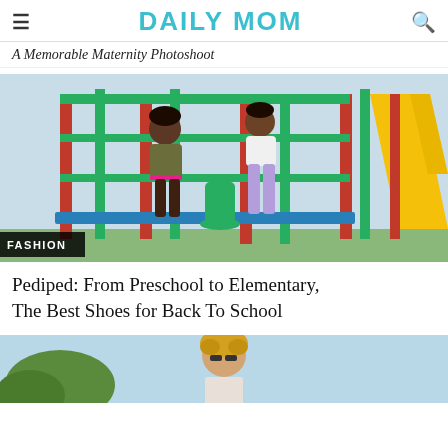DAILY MOM
A Memorable Maternity Photoshoot
[Figure (photo): Two girls playing on a colorful playground with green, red, and yellow equipment. One girl in an olive shirt with pink trim and the other in a white top with lavender leggings. A yellow slide is visible on the right. A black 'FASHION' badge is overlaid in the bottom-left corner.]
Pediped: From Preschool to Elementary, The Best Shoes for Back To School
[Figure (photo): Partial view of a woman with curly blonde hair wearing sunglasses, outdoors with greenery in background.]